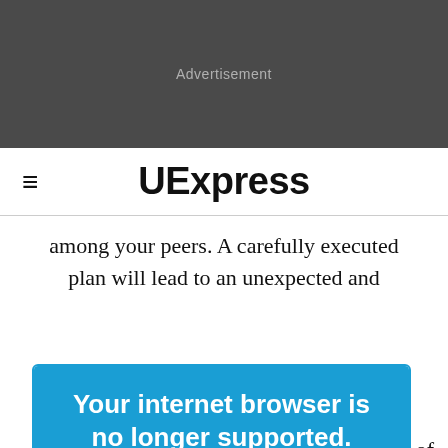[Figure (other): Dark grey advertisement banner with 'Advertisement' label centered]
≡  UExpress
among your peers. A carefully executed plan will lead to an unexpected and
Your internet browser is no longer supported. To get the best experience on our site, we recommend you upgrade to the latest version.
Take care of with gencies or